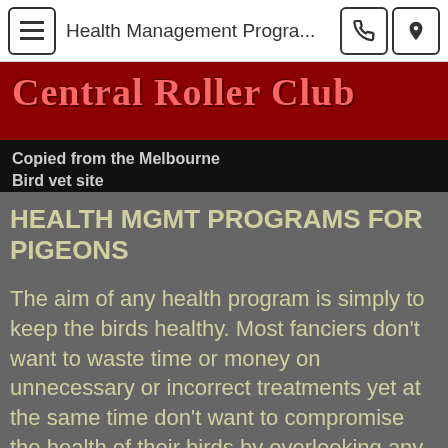Health Management Progra...
Central Roller Club
Copied from the Melbourne Bird vet site
HEALTH MGMT PROGRAMS FOR PIGEONS
The aim of any health program is simply to keep the birds healthy. Most fanciers don't want to waste time or money on unnecessary or incorrect treatments yet at the same time don't want to compromise the health of their birds by overlooking any beneficial treatment